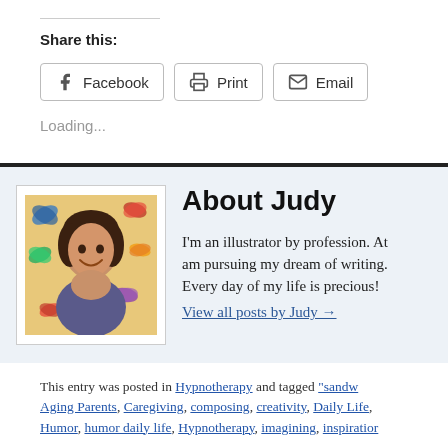Share this:
[Figure (other): Three share buttons: Facebook, Print, Email with icons]
Loading...
[Figure (photo): Author photo of Judy with butterfly background]
About Judy
I'm an illustrator by profession. At am pursuing my dream of writing. Every day of my life is precious!
View all posts by Judy →
This entry was posted in Hypnotherapy and tagged "sandw Aging Parents, Caregiving, composing, creativity, Daily Life, Humor, humor daily life, Hypnotherapy, imagining, inspiratior